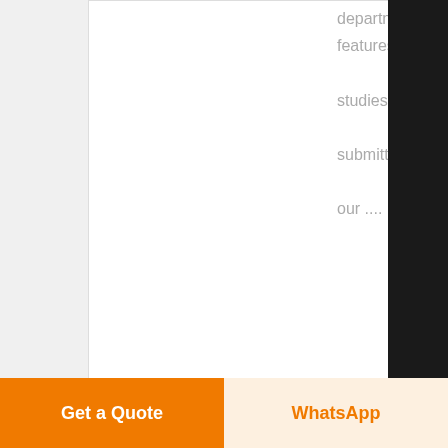department features case studies submitted by our ....
Know More
[Figure (photo): Industrial facility interior showing a large coal pulverizer machine with concrete pillars and metal structure in a warehouse setting]
Performance Driven Maintenance of Coal Pulverizers
Performance
Chat
E-mail
Top
Get a Quote
WhatsApp